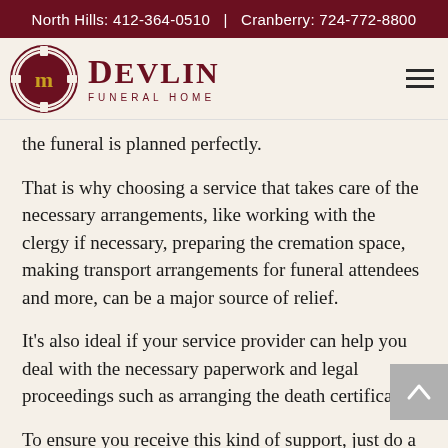North Hills: 412-364-0510  |  Cranberry: 724-772-8800
[Figure (logo): Devlin Funeral Home logo with circular emblem and text]
the funeral is planned perfectly.
That is why choosing a service that takes care of the necessary arrangements, like working with the clergy if necessary, preparing the cremation space, making transport arrangements for funeral attendees and more, can be a major source of relief.
It's also ideal if your service provider can help you deal with the necessary paperwork and legal proceedings such as arranging the death certificate.
To ensure you receive this kind of support, just do a little research into the funeral home services each